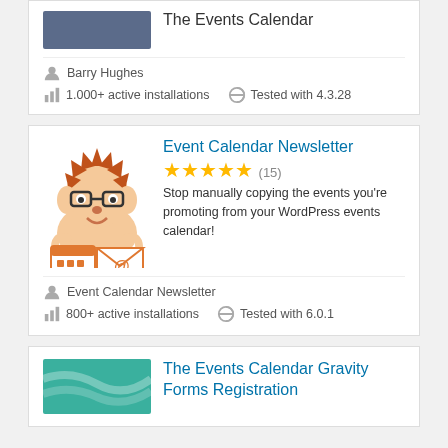[Figure (screenshot): Top plugin card (partial) showing blue/grey thumbnail and 'The Events Calendar' title]
The Events Calendar
Barry Hughes
1.000+ active installations
Tested with 4.3.28
[Figure (illustration): Hedgehog mascot cartoon holding a calendar and email envelope]
Event Calendar Newsletter
★★★★★ (15)
Stop manually copying the events you're promoting from your WordPress events calendar!
Event Calendar Newsletter
800+ active installations
Tested with 6.0.1
[Figure (screenshot): Teal/green thumbnail for The Events Calendar Gravity Forms Registration plugin]
The Events Calendar Gravity Forms Registration